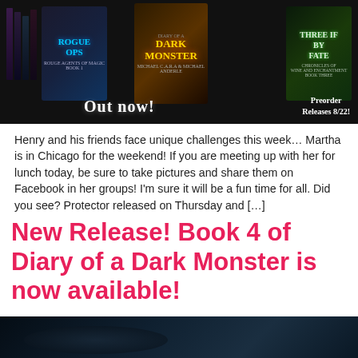[Figure (illustration): Book banner image showing three book covers: Rogue Ops, Diary of a Dark Monster, and Three if by Fate. Text reads 'Out now!' and 'Preorder Releases 8/22!']
Henry and his friends face unique challenges this week… Martha is in Chicago for the weekend! If you are meeting up with her for lunch today, be sure to take pictures and share them on Facebook in her groups! I'm sure it will be a fun time for all. Did you see? Protector released on Thursday and […]
New Release! Book 4 of Diary of a Dark Monster is now available!
[Figure (photo): Bottom partial image showing a dark atmospheric scene]